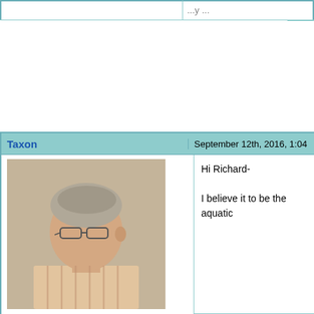|  |  |
| --- | --- |
|  |  |
| Taxon | September 12th, 2016, 1:04 |
| --- | --- |
| Site Editor
Plano, TX

Posts: 1344 | Hi Richard-

I believe it to be the aquatic...

Best regards,
Roger Rohrbeck
www.FlyfishingEntomology. |
| Millcreek | September 12th, 2016, 11:53 |
| --- | --- |
| Healdsburg, CA

Posts: 356 | Roger,

I believe it to be the aqu... |